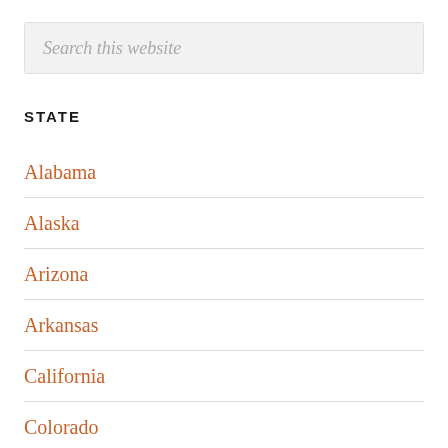Search this website
STATE
Alabama
Alaska
Arizona
Arkansas
California
Colorado
Connecticut